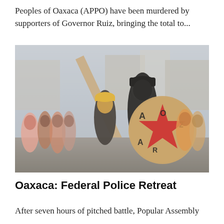Peoples of Oaxaca (APPO) have been murdered by supporters of Governor Ruiz, bringing the total to...
[Figure (photo): Protest scene showing demonstrators, one prominently carrying a round wooden shield painted with a red star and graffiti letters, and a wooden plank over their shoulder. Crowd of people in background on a street.]
Oaxaca: Federal Police Retreat
After seven hours of pitched battle, Popular Assembly